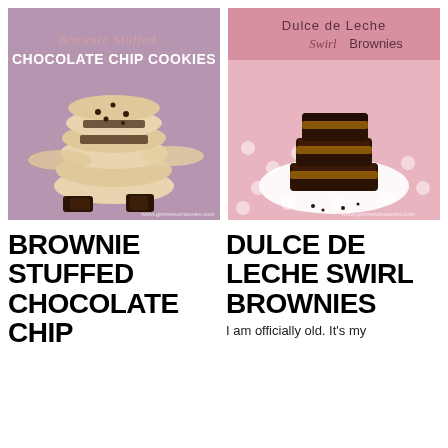[Figure (photo): Photo of brownie-stuffed chocolate chip cookies stacked on a purple background, with text overlay 'Brownie Stuffed CHOCOLATE CHIP COOKIES']
[Figure (photo): Photo of dulce de leche swirl brownies stacked on a white plate with pink polka-dot background, with text overlay 'Dulce de Leche Swirl Brownies']
BROWNIE STUFFED CHOCOLATE CHIP
DULCE DE LECHE SWIRL BROWNIES
I am officially old. It's my